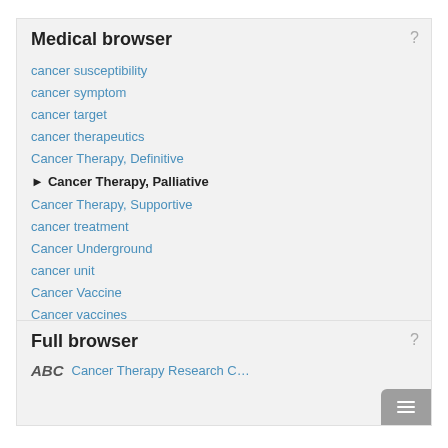Medical browser
cancer susceptibility
cancer symptom
cancer target
cancer therapeutics
Cancer Therapy, Definitive
Cancer Therapy, Palliative
Cancer Therapy, Supportive
cancer treatment
Cancer Underground
cancer unit
Cancer Vaccine
Cancer vaccines
Full browser
Cancer Therapy Research C…